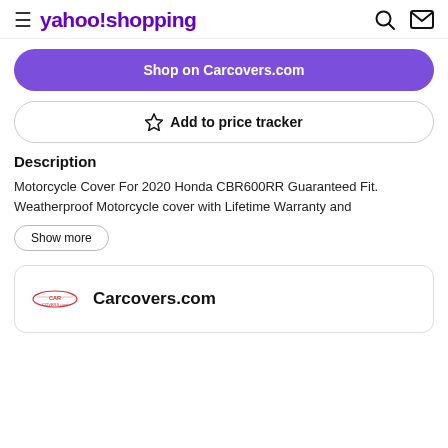yahoo!shopping
Shop on Carcovers.com
☆ Add to price tracker
Description
Motorcycle Cover For 2020 Honda CBR600RR Guaranteed Fit. Weatherproof Motorcycle cover with Lifetime Warranty and
Show more
Carcovers.com